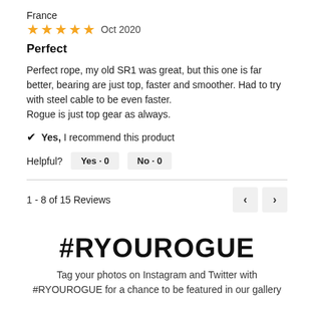France
★★★★★  Oct 2020
Perfect
Perfect rope, my old SR1 was great, but this one is far better, bearing are just top, faster and smoother. Had to try with steel cable to be even faster.
Rogue is just top gear as always.
✔ Yes, I recommend this product
Helpful?   Yes · 0   No · 0
1 - 8 of 15 Reviews
#RYOUROGUE
Tag your photos on Instagram and Twitter with #RYOUROGUE for a chance to be featured in our gallery